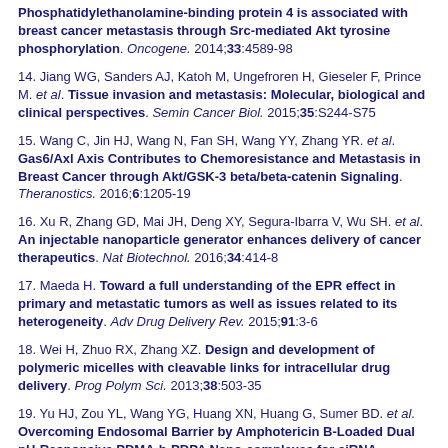Phosphatidylethanolamine-binding protein 4 is associated with breast cancer metastasis through Src-mediated Akt tyrosine phosphorylation. Oncogene. 2014;33:4589-98
14. Jiang WG, Sanders AJ, Katoh M, Ungefroren H, Gieseler F, Prince M. et al. Tissue invasion and metastasis: Molecular, biological and clinical perspectives. Semin Cancer Biol. 2015;35:S244-S75
15. Wang C, Jin HJ, Wang N, Fan SH, Wang YY, Zhang YR. et al. Gas6/Axl Axis Contributes to Chemoresistance and Metastasis in Breast Cancer through Akt/GSK-3 beta/beta-catenin Signaling. Theranostics. 2016;6:1205-19
16. Xu R, Zhang GD, Mai JH, Deng XY, Segura-Ibarra V, Wu SH. et al. An injectable nanoparticle generator enhances delivery of cancer therapeutics. Nat Biotechnol. 2016;34:414-8
17. Maeda H. Toward a full understanding of the EPR effect in primary and metastatic tumors as well as issues related to its heterogeneity. Adv Drug Delivery Rev. 2015;91:3-6
18. Wei H, Zhuo RX, Zhang XZ. Design and development of polymeric micelles with cleavable links for intracellular drug delivery. Prog Polym Sci. 2013;38:503-35
19. Yu HJ, Zou YL, Wang YG, Huang XN, Huang G, Sumer BD. et al. Overcoming Endosomal Barrier by Amphotericin B-Loaded Dual pH-Responsive PDMA-b-PDPA Nano-complexes for siRNA Delivery. ACS Nano. 2011;5:9246-55
20. Xu XD, Wu J, Liu YL, Yu MY, Zhao LL, Zhu X. et al. Ultra-pH-